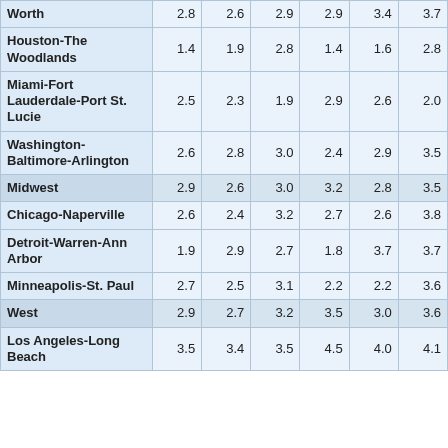|  |  |  |  |  |  |  |
| --- | --- | --- | --- | --- | --- | --- |
| Worth | 2.8 | 2.6 | 2.9 | 2.9 | 3.4 | 3.7 |
| Houston-The Woodlands | 1.4 | 1.9 | 2.8 | 1.4 | 1.6 | 2.8 |
| Miami-Fort Lauderdale-Port St. Lucie | 2.5 | 2.3 | 1.9 | 2.9 | 2.6 | 2.0 |
| Washington-Baltimore-Arlington | 2.6 | 2.8 | 3.0 | 2.4 | 2.9 | 3.5 |
| Midwest | 2.9 | 2.6 | 3.0 | 3.2 | 2.8 | 3.5 |
| Chicago-Naperville | 2.6 | 2.4 | 3.2 | 2.7 | 2.6 | 3.8 |
| Detroit-Warren-Ann Arbor | 1.9 | 2.9 | 2.7 | 1.8 | 3.7 | 3.7 |
| Minneapolis-St. Paul | 2.7 | 2.5 | 3.1 | 2.2 | 2.2 | 3.6 |
| West | 2.9 | 2.7 | 3.2 | 3.5 | 3.0 | 3.6 |
| Los Angeles-Long Beach | 3.5 | 3.4 | 3.5 | 4.5 | 4.0 | 4.1 |